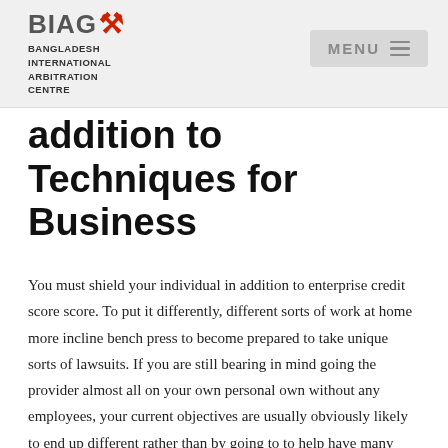BIAC — BANGLADESH INTERNATIONAL ARBITRATION CENTRE | MENU
addition to Techniques for Business
You must shield your individual in addition to enterprise credit score score. To put it differently, different sorts of work at home more incline bench press to become prepared to take unique sorts of lawsuits. If you are still bearing in mind going the provider almost all on your own personal own without any employees, your current objectives are usually obviously likely to end up different rather than by going to to help have many times employees on your side at this moment. Product-based businesses position a leading quality supplement before typically the client and even try to get critiques for efficiency.